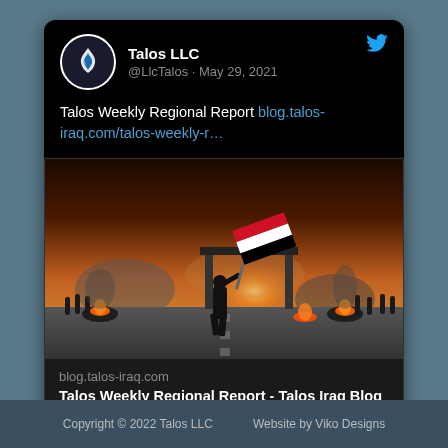Talos LLC
@LlcTalos · May 29, 2021
Talos Weekly Regional Report blog.talos-iraq.com/talos-weekly-r…
[Figure (photo): A person waving an Iraqi flag on a street with fires and crowds in the background at sunset]
blog.talos-iraq.com
Talos Weekly Regional Report - Talos Iraq Blog
Copyright © 2022 Talos LLC      Website by Viko Designs